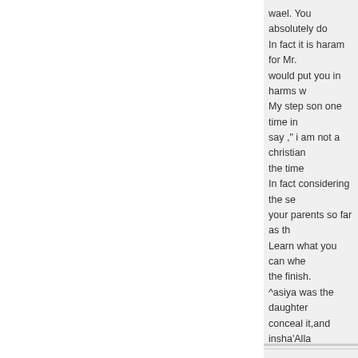wael. You absolutely do
In fact it is haram for Mr.
would put you in harms w
My step son one time in
say ," i am not a christian
the time
In fact considering the se
your parents so far as th
Learn what you can whe
the finish.
^asiya was the daughter
conceal it,and insha'Alla
arabic correlated name i
in your heart much and s
May Allah give you best
most of all becouse they
forever in your service
bashir
Loading...
Reply